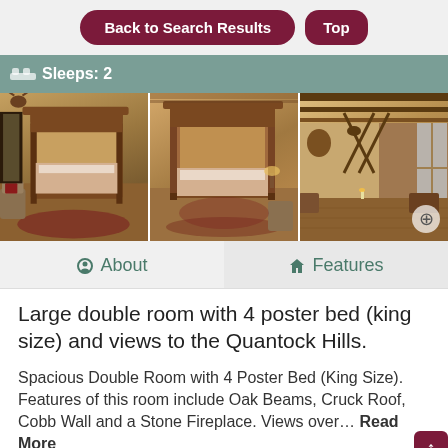Back to Search Results | Top
Sleeps: 2
[Figure (photo): Three photos of a historic bedroom with 4 poster bed (king size), oak beams, cruck roof, and a large open hall room with decorative items on the walls]
About | Features
Large double room with 4 poster bed (king size) and views to the Quantock Hills.
Spacious Double Room with 4 Poster Bed (King Size). Features of this room include Oak Beams, Cruck Roof, Cobb Wall and a Stone Fireplace. Views over… Read More